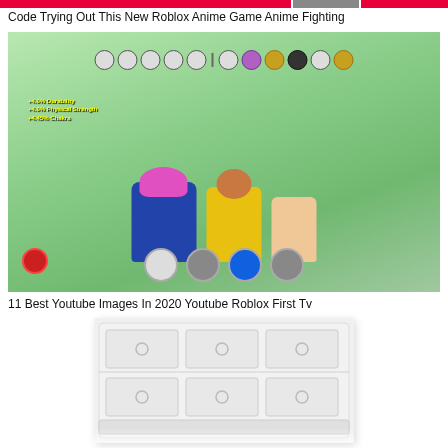Code Trying Out This New Roblox Anime Game Anime Fighting
[Figure (screenshot): Screenshot of a Roblox anime fighting game showing three characters in battle on a green background, with HUD icons at top, stat bonuses (+4.0% Durability, +4.0% Physical Strength, +4.45% Chakra), action buttons at bottom, and a red button on the left.]
11 Best Youtube Images In 2020 Youtube Roblox First Tv
[Figure (photo): Photo of a white dresser or chest of drawers with six drawers arranged in two rows of three, each drawer with a circular knob handle, white/light gray finish.]